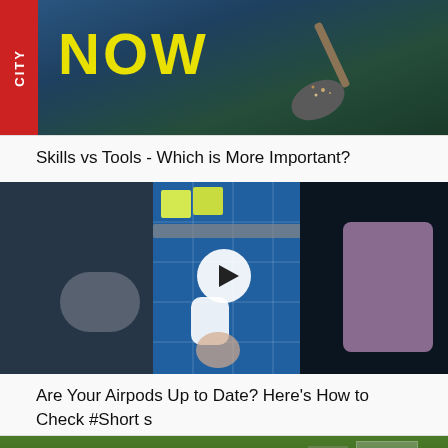[Figure (screenshot): Video thumbnail showing a dark teal background with a red vertical bar on the left with 'CITY' text, and bold yellow 'NOW' text. There appears to be a shovel with debris on the right side.]
Skills vs Tools - Which is More Important?
[Figure (screenshot): Video thumbnail showing a phone repair/tech workspace with a blue mat, yellow sticky notes, a ruler, AirPods case being held, and a phone screen visible. A white play button circle is overlaid in the center.]
Are Your Airpods Up to Date? Here's How to Check #Shorts
[Figure (screenshot): Partial video thumbnail at bottom showing green grass/outdoor setting with some structures visible at right edge.]